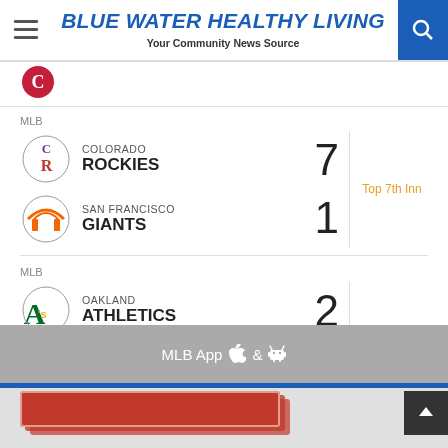BLUE WATER HEALTHY LIVING — Your Community News Source
MLB
COLORADO ROCKIES 7 — SAN FRANCISCO GIANTS 1 — Top 7th Inn
MLB
OAKLAND ATHLETICS 2 — SEATTLE MARINERS 3 — Top 4th Inn
MLB App & (Apple and Android)